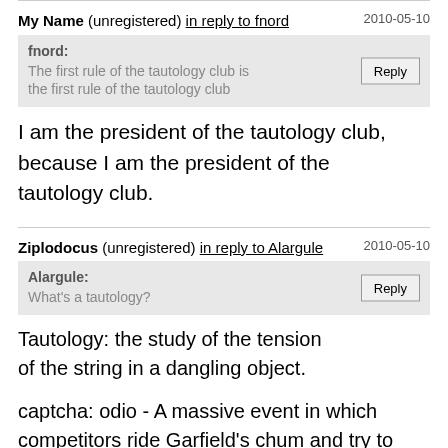My Name (unregistered) in reply to fnord
2010-05-10
fnord:
The first rule of the tautology club is the first rule of the tautology club
[Reply]
I am the president of the tautology club, because I am the president of the tautology club.
Ziplodocus (unregistered) in reply to Alargule
2010-05-10
Alargule:
What's a tautology?
[Reply]
Tautology: the study of the tension of the string in a dangling object.
captcha: odio - A massive event in which competitors ride Garfield's chum and try to